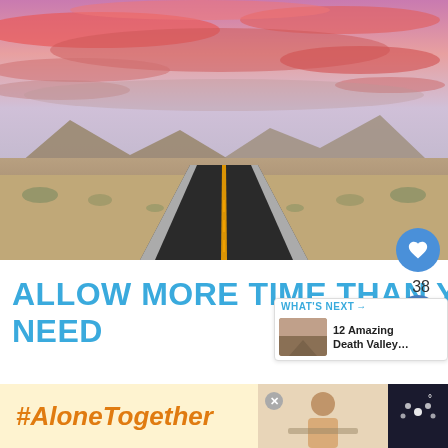[Figure (photo): Dramatic desert highway stretching to the vanishing point under a vivid pink and purple sunset sky with mountains in the background]
ALLOW MORE TIME THAN YOU THINK YOU'LL NEED
Unless you are laser focused on
[Figure (other): WHAT'S NEXT panel with thumbnail of Death Valley: '12 Amazing Death Valley…']
[Figure (other): Ad banner with #AloneTogether hashtag text and a woman eating image]